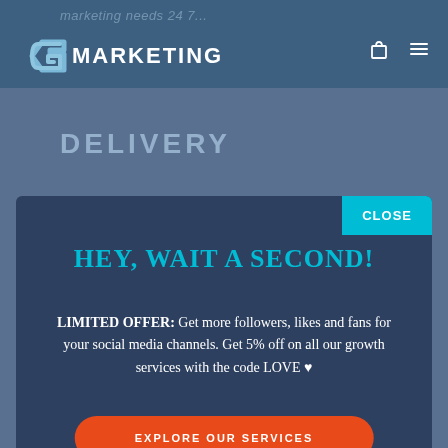marketing needs 24 7
[Figure (logo): G Marketing logo with shopping bag and hamburger menu icons in dark blue navigation bar]
DELIVERY
[Figure (screenshot): Modal popup with close button, headline 'HEY, WAIT A SECOND!', offer text, and orange CTA button]
HEY, WAIT A SECOND!
LIMITED OFFER: Get more followers, likes and fans for your social media channels. Get 5% off on all our growth services with the code LOVE ♥
EXPLORE OUR SERVICES